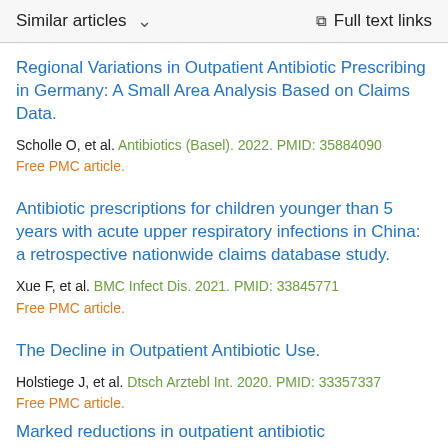Similar articles   ∨     Full text links
Regional Variations in Outpatient Antibiotic Prescribing in Germany: A Small Area Analysis Based on Claims Data.
Scholle O, et al. Antibiotics (Basel). 2022. PMID: 35884090
Free PMC article.
Antibiotic prescriptions for children younger than 5 years with acute upper respiratory infections in China: a retrospective nationwide claims database study.
Xue F, et al. BMC Infect Dis. 2021. PMID: 33845771
Free PMC article.
The Decline in Outpatient Antibiotic Use.
Holstiege J, et al. Dtsch Arztebl Int. 2020. PMID: 33357337
Free PMC article.
Marked reductions in outpatient antibiotic